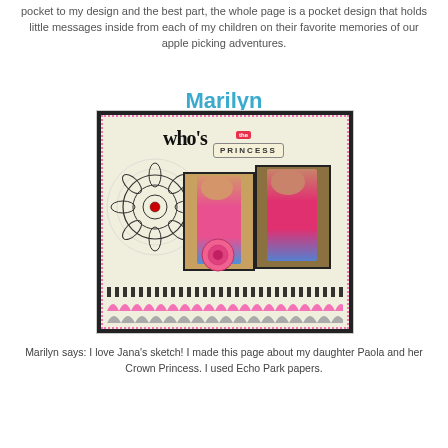pocket to my design and the best part, the whole page is a pocket design that holds little messages inside from each of my children on their favorite memories of our apple picking adventures.
Marilyn
[Figure (photo): Scrapbook page titled 'who's the PRINCESS' featuring two photos of a girl in a pink shirt, decorative mandala, lace trim, pink and grey scalloped border, roses, and Echo Park papers.]
Marilyn says: I love Jana's sketch!  I made this page about my daughter Paola and her Crown Princess.  I used Echo Park papers.